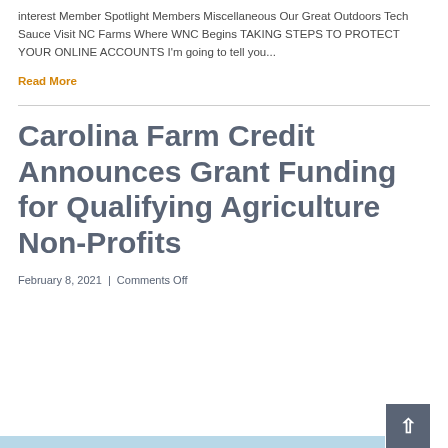interest Member Spotlight Members Miscellaneous Our Great Outdoors Tech Sauce Visit NC Farms Where WNC Begins TAKING STEPS TO PROTECT YOUR ONLINE ACCOUNTS I'm going to tell you...
Read More
Carolina Farm Credit Announces Grant Funding for Qualifying Agriculture Non-Profits
February 8, 2021 | Comments Off